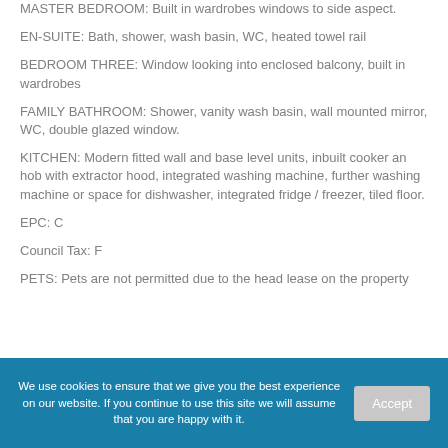MASTER BEDROOM: Built in wardrobes windows to side aspect.
EN-SUITE: Bath, shower, wash basin, WC, heated towel rail
BEDROOM THREE: Window looking into enclosed balcony, built in wardrobes
FAMILY BATHROOM: Shower, vanity wash basin, wall mounted mirror, WC, double glazed window.
KITCHEN: Modern fitted wall and base level units, inbuilt cooker an hob with extractor hood, integrated washing machine, further washing machine or space for dishwasher, integrated fridge / freezer, tiled floor.
EPC: C
Council Tax: F
PETS: Pets are not permitted due to the head lease on the property
We use cookies to ensure that we give you the best experience on our website. If you continue to use this site we will assume that you are happy with it.